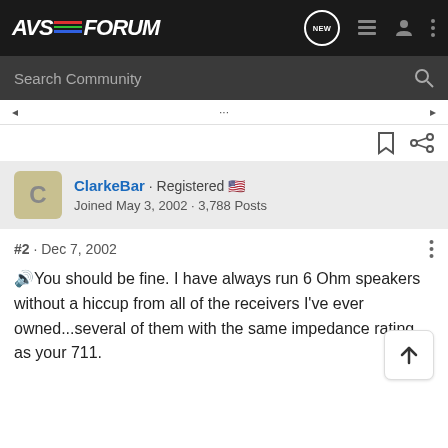AVS FORUM
Search Community
ClarkeBar · Registered
Joined May 3, 2002 · 3,788 Posts
#2 · Dec 7, 2002
You should be fine. I have always run 6 Ohm speakers without a hiccup from all of the receivers I've ever owned...several of them with the same impedance rating as your 711.